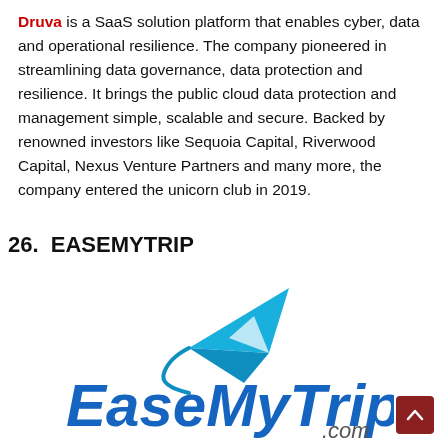Druva is a SaaS solution platform that enables cyber, data and operational resilience. The company pioneered in streamlining data governance, data protection and resilience. It brings the public cloud data protection and management simple, scalable and secure. Backed by renowned investors like Sequoia Capital, Riverwood Capital, Nexus Venture Partners and many more, the company entered the unicorn club in 2019.
26.  EASEMYTRIP
[Figure (logo): EaseMyTrip.com logo — blue paper airplane above stylized blue text 'EaseMyTrip' with '.com' in smaller grey text]